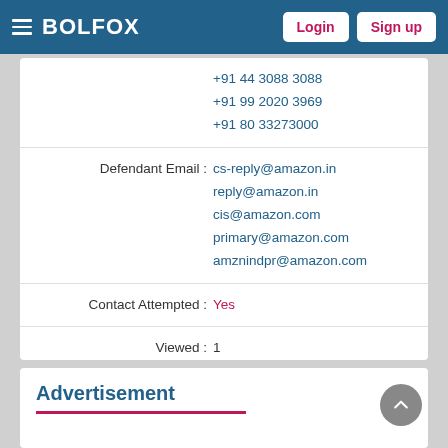BOLFOX | Login | Sign up
| Field | Value |
| --- | --- |
|  | +91 44 3088 3088
+91 99 2020 3969
+91 80 33273000 |
| Defendant Email : | cs-reply@amazon.in
reply@amazon.in
cis@amazon.com
primary@amazon.com
amznindpr@amazon.com |
| Contact Attempted : | Yes |
| Viewed : | 1 |
| Created On : | 2020-11-18 16:07:47 |
| ID : | 729 |
| Tags : |  |
Advertisement